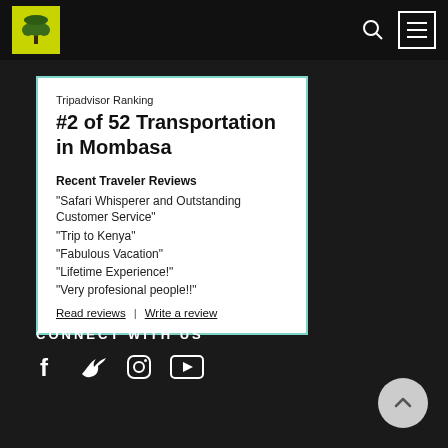[Figure (logo): African Quest Safaris logo — yellow/green square with tree silhouette]
Tripadvisor Ranking
#2 of 52 Transportation in Mombasa
Recent Traveler Reviews
“Safari Whisperer and Outstanding Customer Service”
“Trip to Kenya”
“Fabulous Vacation”
“Lifetime Experience!”
“Very profesional people!!”
Read reviews  |  Write a review
CONNECT WITH US
[Figure (illustration): Social media icons: Facebook, Twitter, Instagram, YouTube]